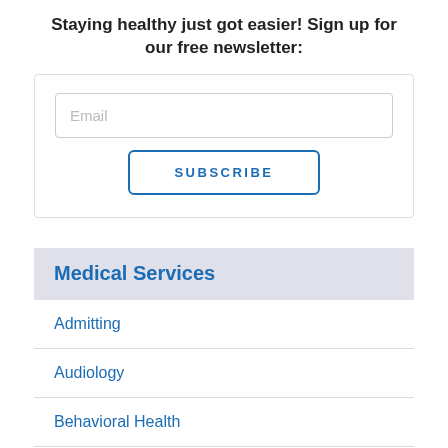Staying healthy just got easier! Sign up for our free newsletter:
[Figure (other): Email input field with placeholder text 'Email']
[Figure (other): Subscribe button with text 'SUBSCRIBE']
Medical Services
Admitting
Audiology
Behavioral Health
Cardiology
Case Management